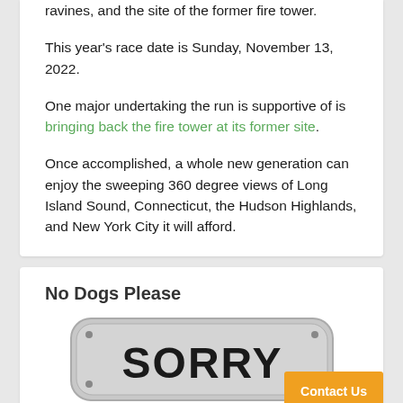ravines, and the site of the former fire tower.
This year's race date is Sunday, November 13, 2022.
One major undertaking the run is supportive of is bringing back the fire tower at its former site.
Once accomplished, a whole new generation can enjoy the sweeping 360 degree views of Long Island Sound, Connecticut, the Hudson Highlands, and New York City it will afford.
No Dogs Please
[Figure (photo): A grey rounded rectangle sign showing the word SORRY in bold black letters, with a Contact Us orange button in the bottom right corner.]